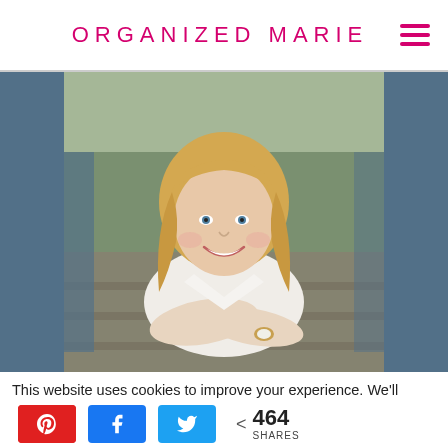ORGANIZED MARIE
[Figure (photo): Portrait photo of a smiling blonde woman wearing a white t-shirt and a watch, sitting outdoors on steps with a warm, slightly blurred background.]
This website uses cookies to improve your experience. We'll assume
464 SHARES